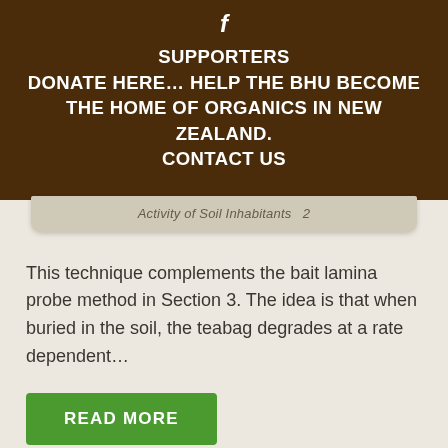f
SUPPORTERS
DONATE HERE... HELP THE BHU BECOME
THE HOME OF ORGANICS IN NEW ZEALAND.
CONTACT US
[Figure (other): Torn paper strip with partially visible italic text reading 'Activity of Soil Inhabitants']
This technique complements the bait lamina probe method in Section 3. The idea is that when buried in the soil, the teabag degrades at a rate dependent...
READ MORE